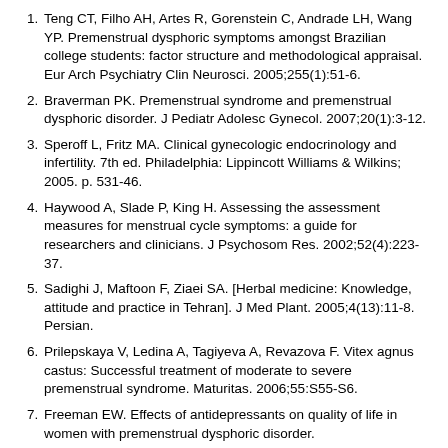Teng CT, Filho AH, Artes R, Gorenstein C, Andrade LH, Wang YP. Premenstrual dysphoric symptoms amongst Brazilian college students: factor structure and methodological appraisal. Eur Arch Psychiatry Clin Neurosci. 2005;255(1):51-6.
Braverman PK. Premenstrual syndrome and premenstrual dysphoric disorder. J Pediatr Adolesc Gynecol. 2007;20(1):3-12.
Speroff L, Fritz MA. Clinical gynecologic endocrinology and infertility. 7th ed. Philadelphia: Lippincott Williams & Wilkins; 2005. p. 531-46.
Haywood A, Slade P, King H. Assessing the assessment measures for menstrual cycle symptoms: a guide for researchers and clinicians. J Psychosom Res. 2002;52(4):223-37.
Sadighi J, Maftoon F, Ziaei SA. [Herbal medicine: Knowledge, attitude and practice in Tehran]. J Med Plant. 2005;4(13):11-8. Persian.
Prilepskaya V, Ledina A, Tagiyeva A, Revazova F. Vitex agnus castus: Successful treatment of moderate to severe premenstrual syndrome. Maturitas. 2006;55:S55-S6.
Freeman EW. Effects of antidepressants on quality of life in women with premenstrual dysphoric disorder.